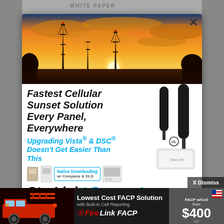[Figure (photo): Sunset photo with three communication/cell towers silhouetted against an orange and golden sky with dramatic clouds]
Fastest Cellular Sunset Solution Every Panel, Everywhere
Upgrading Vista® & DSC® Doesn't Get Easier Than This
Native Downloading w/ Compass & DLS
[Figure (logo): StarLinkConnect logo with radio wave icon and chat bubble icon]
Radio $0.95*
[Figure (photo): Bottom banner ad: Lowest Cost FACP Solution with Built-in Cell Reporting, FireLink FACP, FACP w/Cell from $400]
Lowest Cost FACP Solution with Built-in Cell Reporting
FireLink FACP
FACP w/Cell from $400